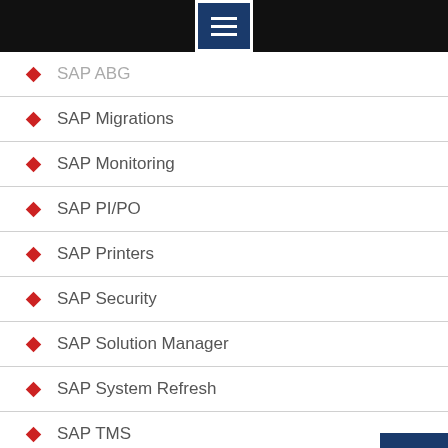[Figure (screenshot): Black top navigation bar with hamburger menu button (three white lines on dark blue background)]
SAP ABG
SAP Migrations
SAP Monitoring
SAP PI/PO
SAP Printers
SAP Security
SAP Solution Manager
SAP System Refresh
SAP TMS
SAP Upgrades
SAPGUI Installtions
Support Packages